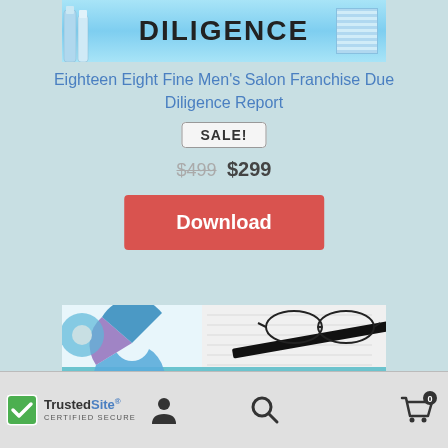[Figure (photo): Top banner image showing a 'DILIGENCE' sign in bold letters with teal/blue background and some product bottles on the left side]
Eighteen Eight Fine Men's Salon Franchise Due Diligence Report
SALE!
$499  $299
Download
[Figure (photo): Bottom banner image showing a donut/pie chart with blue and purple colors alongside glasses and a notebook/spreadsheet paper]
TrustedSite CERTIFIED SECURE